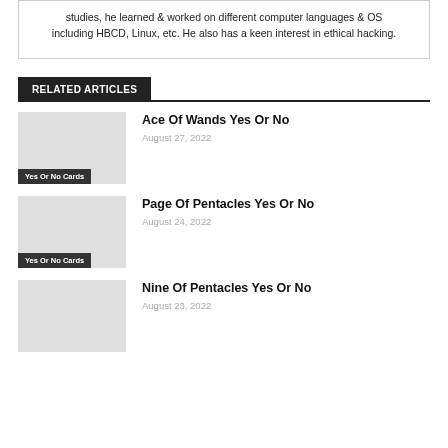studies, he learned & worked on different computer languages & OS including HBCD, Linux, etc. He also has a keen interest in ethical hacking.
RELATED ARTICLES
Ace Of Wands Yes Or No
August 27, 2022
Yes Or No Cards
Page Of Pentacles Yes Or No
August 24, 2022
Yes Or No Cards
Nine Of Pentacles Yes Or No
August 23, 2022